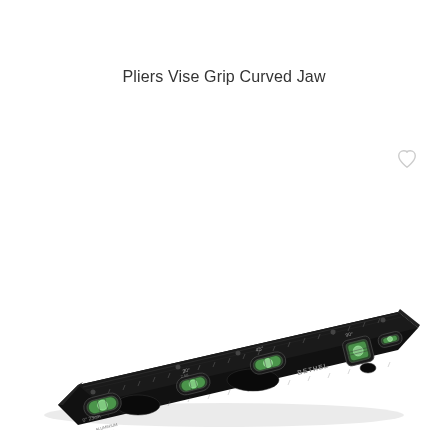Pliers Vise Grip Curved Jaw
[Figure (photo): A black aluminum spirit level tool (BETHEL brand) photographed at an angle, showing multiple bubble vials at 0°, 30°, 45°, and 90° measurement positions, with measurement markings along the body. The tool is photographed against a white background.]